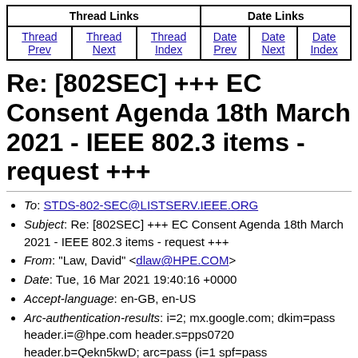| Thread Links | Date Links |
| --- | --- |
| Thread Prev | Thread Next | Thread Index | Date Prev | Date Next | Date Index |
Re: [802SEC] +++ EC Consent Agenda 18th March 2021 - IEEE 802.3 items - request +++
To: STDS-802-SEC@LISTSERV.IEEE.ORG
Subject: Re: [802SEC] +++ EC Consent Agenda 18th March 2021 - IEEE 802.3 items - request +++
From: "Law, David" <dlaw@HPE.COM>
Date: Tue, 16 Mar 2021 19:40:16 +0000
Accept-language: en-GB, en-US
Arc-authentication-results: i=2; mx.google.com; dkim=pass header.i=@hpe.com header.s=pps0720 header.b=Qekn5kwD; arc=pass (i=1 spf=pass spfdomain=hpe.com dkim=pass dkdomain=hpe.com dmarc=pass fromdomain=hpe.com); spf=pass (google.com;